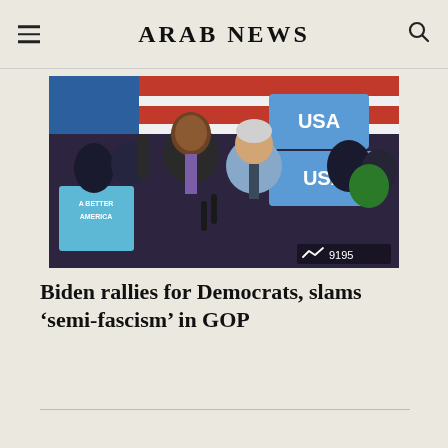ARAB NEWS
[Figure (photo): Biden and another man on stage at a political rally with supporters holding 'USA' and 'A Better America' signs in the background. A view count of 9195 is shown in the bottom-right corner.]
Biden rallies for Democrats, slams ‘semi-fascism’ in GOP